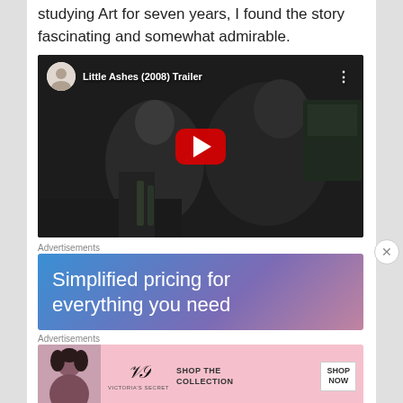studying Art for seven years, I found the story fascinating and somewhat admirable.
[Figure (screenshot): YouTube video thumbnail for 'Little Ashes (2008) Trailer' showing two men in a dark scene with a red YouTube play button in the center]
Advertisements
[Figure (screenshot): Advertisement banner with blue-to-purple gradient reading 'Simplified pricing for everything you need']
Advertisements
[Figure (screenshot): Victoria's Secret advertisement: 'SHOP THE COLLECTION' with SHOP NOW button]